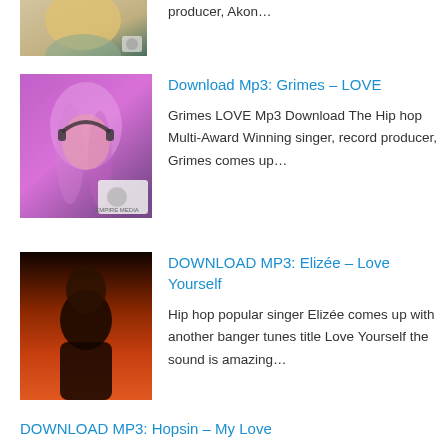[Figure (photo): Partial view of a person with blonde hair, cropped at top of page]
producer, Akon…
[Figure (photo): Grimes with pink/purple hair and headphones, artistic photo with watermark badge]
Download Mp3: Grimes – LOVE
Grimes LOVE Mp3 Download The Hip hop Multi-Award Winning singer, record producer, Grimes comes up…
[Figure (photo): Portrait of a person against orange/red background]
DOWNLOAD MP3: Elizée – Love Yourself
Hip hop popular singer Elizée comes up with another banger tunes title Love Yourself the sound is amazing…
DOWNLOAD MP3: Hopsin – My Love
Hip hop popular singer Hopsin comes up with another banger tunes title My Love the sound is…